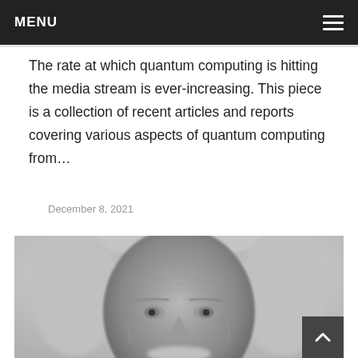MENU
The rate at which quantum computing is hitting the media stream is ever-increasing. This piece is a collection of recent articles and reports covering various aspects of quantum computing from...
December 8, 2021
[Figure (photo): Black and white close-up portrait of an elderly man with white hair, deep-set eyes, and wrinkled face, resembling a scientist.]